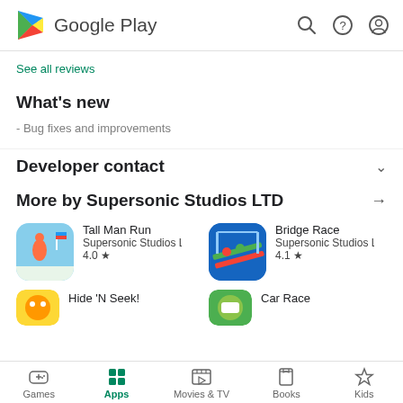Google Play
See all reviews
What's new
- Bug fixes and improvements
Developer contact
More by Supersonic Studios LTD
Tall Man Run
Supersonic Studios L
4.0 ★
Bridge Race
Supersonic Studios L
4.1 ★
Hide 'N Seek!
Car Race
Games  Apps  Movies & TV  Books  Kids